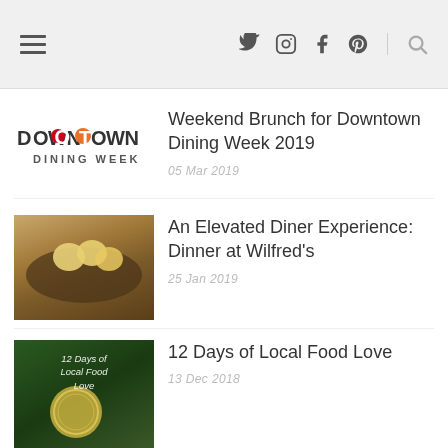Navigation header with hamburger menu, social icons (Twitter, Instagram, Facebook, Pinterest), and search icon
[Figure (logo): Downtown Dining Week logo - colorful text logo with orange and red accent on letters]
Weekend Brunch for Downtown Dining Week 2019
05 Mar 2019
[Figure (photo): Photo of eggs benedict or poached eggs on a dark plate]
An Elevated Diner Experience: Dinner at Wilfred's
25 Jan 2019
[Figure (photo): Christmas ornament photo with text '12 Days of Local Food Love' overlaid on green foliage background]
12 Days of Local Food Love
13 Dec 2018
[Figure (photo): Wedding photo showing bridesmaids in light dresses looking down together]
Our Okanagan Wedding: First Look, Ceremony & Reception